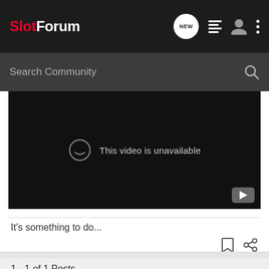SlotForum
Search Community
[Figure (screenshot): Embedded YouTube video player showing 'This video is unavailable' message on a black background with a YouTube play button icon in the bottom right corner.]
It&#39;s something to do...
1 - 1 of 1 Posts
This is an older thread, you may not receive a response, and could be